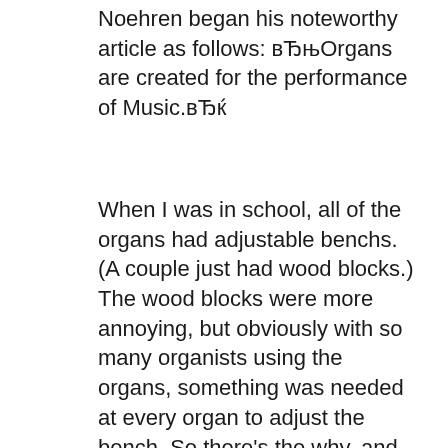Noehren began his noteworthy article as follows: вЂњOrgans are created for the performance of Music.вЂќ
When I was in school, all of the organs had adjustable benchs. (A couple just had wood blocks.) The wood blocks were more annoying, but obviously with so many organists using the organs, something was needed at every organ to adjust the bench. So there's the why, and the results were that everyone was happy and able to sit at the bench properly Edition 1.4.2 May 2000. Preface. Welcome to the Hammond organ and Leslie speaker Frequently Answered Questions - a source of information, myth and lore regarding all